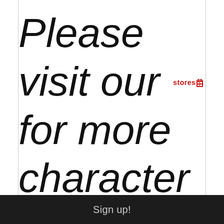Please visit our stores for more character items. We offer
Sign up!